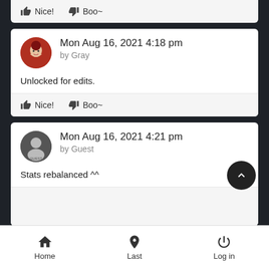Nice! Boo~
Mon Aug 16, 2021 4:18 pm by Gray
Unlocked for edits.
Nice! Boo~
Mon Aug 16, 2021 4:21 pm by Guest
Stats rebalanced ^^
Mon Aug 16, 2021 4:24 pm
Home Last Log in